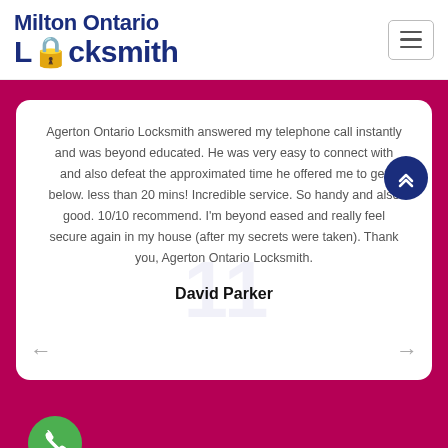Milton Ontario Locksmith
Agerton Ontario Locksmith answered my telephone call instantly and was beyond educated. He was very easy to connect with and also defeat the approximated time he offered me to get below. less than 20 mins! Incredible service. So handy and also good. 10/10 recommend. I'm beyond eased and really feel secure again in my house (after my secrets were taken). Thank you, Agerton Ontario Locksmith.
David Parker